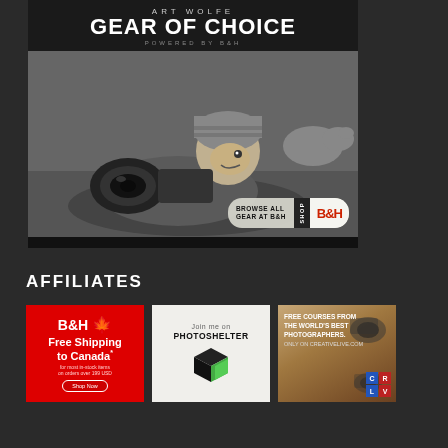[Figure (photo): Art Wolfe Gear of Choice powered by B&H advertisement. Black and white photo of a photographer lying prone holding a camera with a large lens, wearing a knit hat. Browse All Gear at B&H Shop button overlaid at bottom right.]
AFFILIATES
[Figure (logo): B&H Free Shipping to Canada affiliate banner. Red background with B&H logo and maple leaf, text: Free Shipping to Canada* for most in-stock items on orders over 199 USD. Shop Now button.]
[Figure (logo): PhotoShelter affiliate banner. Light beige background with text 'Join me on PHOTOSHELTER' and a black and green cube logo.]
[Figure (photo): CreativeLive affiliate banner. Brown/wooden background with cameras. Text: FREE COURSES FROM THE WORLD'S BEST PHOTOGRAPHERS. ONLY ON CREATIVELIVE.COM. CRLV logo grid at bottom right.]